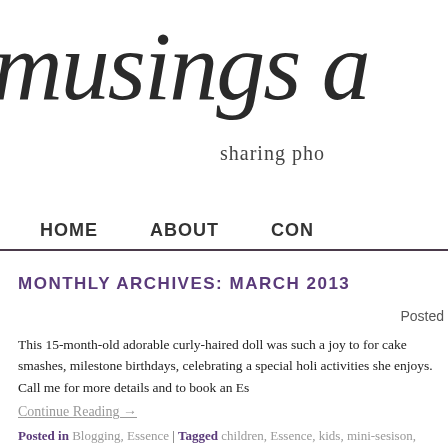musings a… sharing pho…
MONTHLY ARCHIVES: MARCH 2013
Posted
This 15-month-old adorable curly-haired doll was such a joy to for cake smashes, milestone birthdays, celebrating a special holi activities she enjoys. Call me for more details and to book an Es
Continue Reading →
Posted in Blogging, Essence | Tagged children, Essence, kids, mini-sesison,